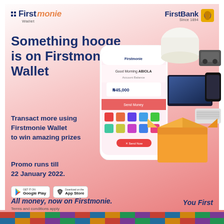[Figure (logo): Firstmonie Wallet logo — dark blue 'First' and orange italic 'monie' with grid dots, 'Wallet' subtitle]
[Figure (logo): FirstBank logo with lion icon and 'Since 1894' tagline]
Something hooge is on Firstmonie Wallet
Transact more using Firstmonie Wallet to win amazing prizes
Promo runs till 22 January 2022.
[Figure (screenshot): Firstmonie Wallet app screenshot on a phone showing 'Good Morning ABIOLA' greeting and colorful app icons]
[Figure (illustration): Illustrated prizes floating above an open gift box: bag of rice, generator, TV, phone, air conditioner]
[Figure (logo): Google Play store download button]
[Figure (logo): App Store download button]
All money, now on Firstmonie.
Terms and conditions apply
You First
[Figure (illustration): Colorful decorative bottom strip with African-themed patterns and world map]